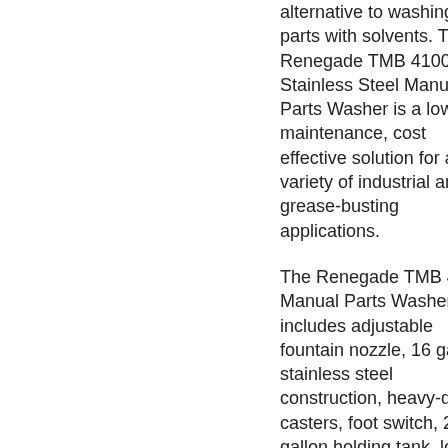alternative to washing parts with solvents. The Renegade TMB 4100 Stainless Steel Manual Parts Washer is a low maintenance, cost effective solution for a variety of industrial and grease-busting applications.
The Renegade TMB 4100 Manual Parts Washer includes adjustable fountain nozzle, 16 gauge stainless steel construction, heavy-duty casters, foot switch, 20 gallon holding tank, low water alarm and shut down system